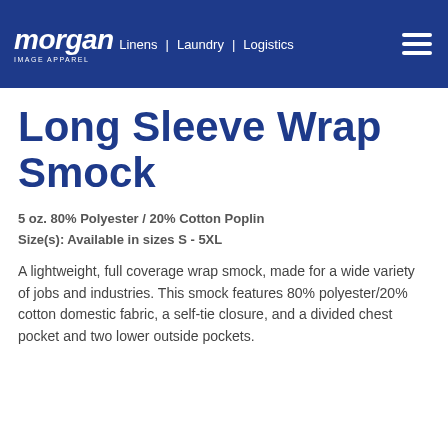morgan IMAGE APPAREL | Linens | Laundry | Logistics
Long Sleeve Wrap Smock
5 oz. 80% Polyester / 20% Cotton Poplin
Size(s): Available in sizes S - 5XL
A lightweight, full coverage wrap smock, made for a wide variety of jobs and industries. This smock features 80% polyester/20% cotton domestic fabric, a self-tie closure, and a divided chest pocket and two lower outside pockets.